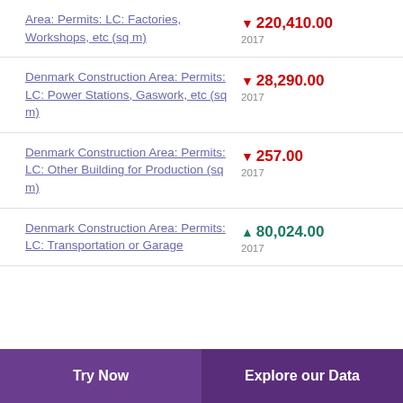Denmark Construction Area: Permits: LC: Factories, Workshops, etc (sq m)
Denmark Construction Area: Permits: LC: Power Stations, Gaswork, etc (sq m)
Denmark Construction Area: Permits: LC: Other Building for Production (sq m)
Denmark Construction Area: Permits: LC: Transportation or Garage
Try Now | Explore our Data